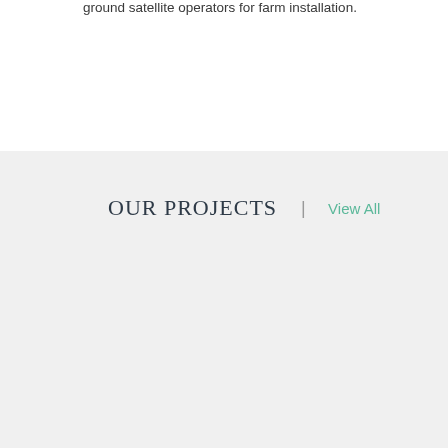ground satellite operators for farm installation.
OUR PROJECTS  |  View All